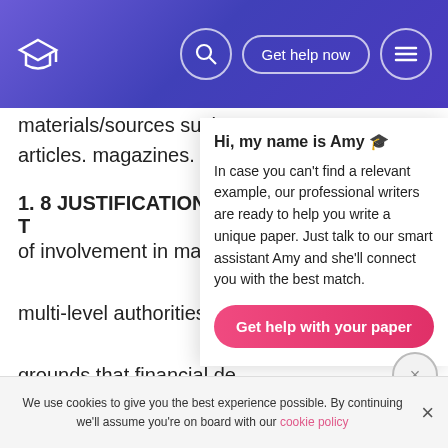Get help now
materials/sources such a. articles. magazines. and t
1. 8 JUSTIFICATION FOR T
of involvement in many p multi-level authorities fin grounds that financial de around the universe. the the research on financial better the public presentation of the populace sector and thereby enhance chances for higher growing. Established federations in developed states have been the traditional
Hi, my name is Amy 🎓
In case you can't find a relevant example, our professional writers are ready to help you write a unique paper. Just talk to our smart assistant Amy and she'll connect you with the best match.
Get help with your paper
We use cookies to give you the best experience possible. By continuing we'll assume you're on board with our cookie policy